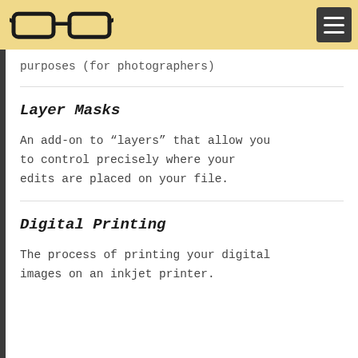purposes (for photographers)
Layer Masks
An add-on to “layers” that allow you to control precisely where your edits are placed on your file.
Digital Printing
The process of printing your digital images on an inkjet printer.